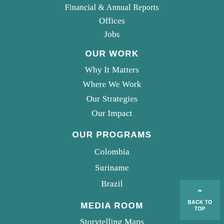Financial & Annual Reports
Offices
Jobs
OUR WORK
Why It Matters
Where We Work
Our Strategies
Our Impact
OUR PROGRAMS
Colombia
Suriname
Brazil
MEDIA ROOM
Storytelling Maps
Blog Posts
Videos
Publications